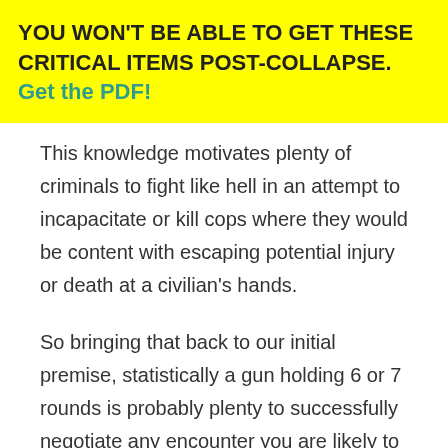YOU WON'T BE ABLE TO GET THESE CRITICAL ITEMS POST-COLLAPSE. Get the PDF!
This knowledge motivates plenty of criminals to fight like hell in an attempt to incapacitate or kill cops where they would be content with escaping potential injury or death at a civilian's hands.
So bringing that back to our initial premise, statistically a gun holding 6 or 7 rounds is probably plenty to successfully negotiate any encounter you are likely to have. A modern double stack semi-auto carrying 17, 16 or more rounds has more than enough ammo to carry